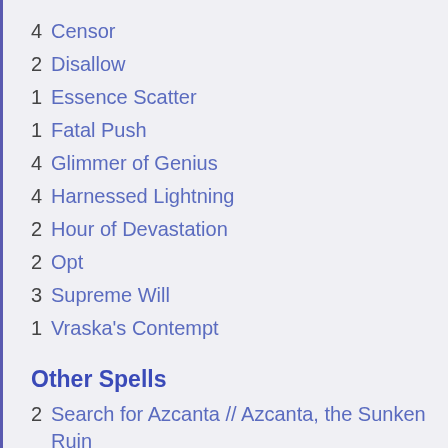4 Censor
2 Disallow
1 Essence Scatter
1 Fatal Push
4 Glimmer of Genius
4 Harnessed Lightning
2 Hour of Devastation
2 Opt
3 Supreme Will
1 Vraska's Contempt
Other Spells
2 Search for Azcanta // Azcanta, the Sunken Ruin
Lands